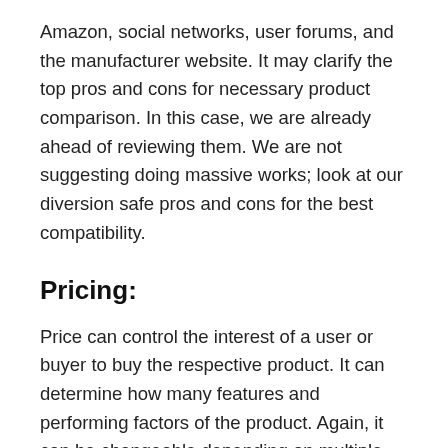Amazon, social networks, user forums, and the manufacturer website. It may clarify the top pros and cons for necessary product comparison. In this case, we are already ahead of reviewing them. We are not suggesting doing massive works; look at our diversion safe pros and cons for the best compatibility.
Pricing:
Price can control the interest of a user or buyer to buy the respective product. It can determine how many features and performing factors of the product. Again, it can be changeable depending on multiple facts like brand value, topmost features, how they function, and life expectancy. Remember that you should pay more to get a product from a